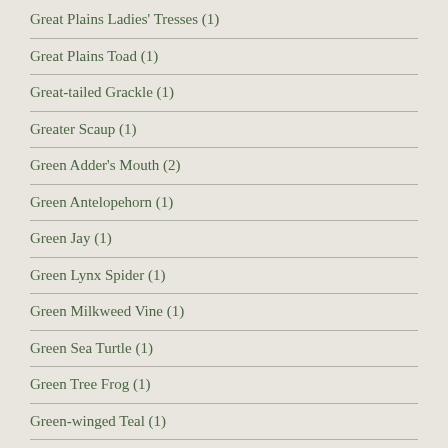Great Plains Ladies' Tresses (1)
Great Plains Toad (1)
Great-tailed Grackle (1)
Greater Scaup (1)
Green Adder's Mouth (2)
Green Antelopehorn (1)
Green Jay (1)
Green Lynx Spider (1)
Green Milkweed Vine (1)
Green Sea Turtle (1)
Green Tree Frog (1)
Green-winged Teal (1)
Groundnut (1)
Grus canadensis (1)
Grusonia aggeria (1)